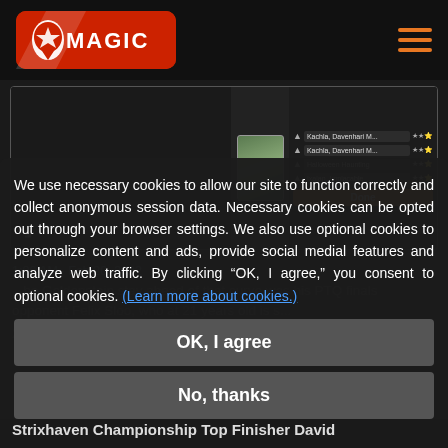Magic
[Figure (screenshot): Magic: The Gathering Arena interface screenshot showing card draft selection screen with card list on right side]
1:00 AM · Feb 20, 2022
We use necessary cookies to allow our site to function correctly and collect anonymous session data. Necessary cookies can be opted out through your browser settings. We also use optional cookies to personalize content and ads, provide social medial features and analyze web traffic. By clicking “OK, I agree,” you consent to optional cookies. (Learn more about cookies.)
OK, I agree
No, thanks
Strixhaven Championship Top Finisher David